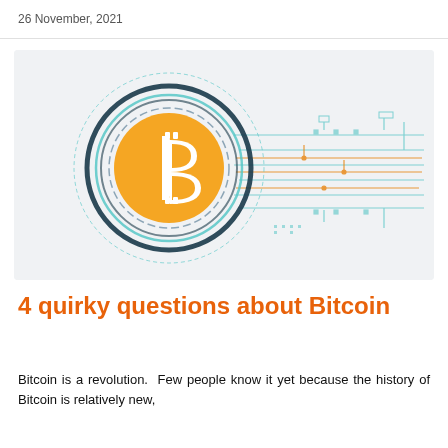26 November, 2021
[Figure (illustration): Bitcoin logo (orange circle with white B symbol) surrounded by dark teal circular rings, with circuit board / blockchain network lines extending to the right in teal and orange colors on a light gray background.]
4 quirky questions about Bitcoin
Bitcoin is a revolution. Few people know it yet because the history of Bitcoin is relatively new,